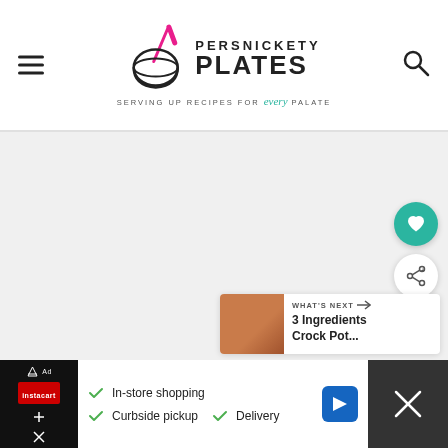Persnickety Plates — Serving up recipes for every palate
[Figure (other): Large light gray blank content area below the website header]
[Figure (other): Floating heart (save) button — teal circle with white heart icon]
[Figure (other): Floating share button — white circle with share icon]
[Figure (other): What's Next card showing '3 Ingredients Crock Pot...' with food thumbnail]
[Figure (other): Advertisement bar at bottom: Instacart ad with In-store shopping, Curbside pickup, Delivery options]